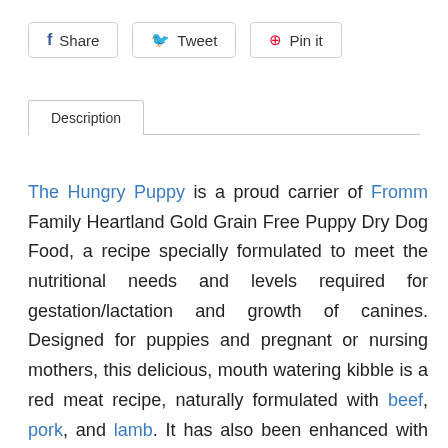Share   Tweet   Pin it
Description
The Hungry Puppy is a proud carrier of Fromm Family Heartland Gold Grain Free Puppy Dry Dog Food, a recipe specially formulated to meet the nutritional needs and levels required for gestation/lactation and growth of canines. Designed for puppies and pregnant or nursing mothers, this delicious, mouth watering kibble is a red meat recipe, naturally formulated with beef, pork, and lamb. It has also been enhanced with probiotics for improved digestion. Not to mention, it's free from any artificial preservatives and also grain free! Grain free pet food is known for many benefits: healthier skin and coat